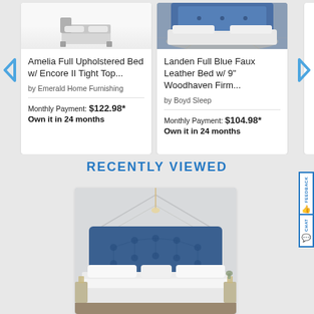[Figure (screenshot): Left navigation arrow (chevron left, blue) for product carousel]
[Figure (photo): Product card 1: Amelia Full Upholstered Bed image (partial, top visible)]
Amelia Full Upholstered Bed w/ Encore II Tight Top...
by Emerald Home Furnishing
Monthly Payment: $122.98*
Own it in 24 months
[Figure (photo): Product card 2: Landen Full Blue Faux Leather Bed image (blue bed on patterned rug)]
Landen Full Blue Faux Leather Bed w/ 9" Woodhaven Firm...
by Boyd Sleep
Monthly Payment: $104.98*
Own it in 24 months
[Figure (screenshot): Right navigation arrow (chevron right, blue) for product carousel]
RECENTLY VIEWED
[Figure (photo): Recently viewed product image: bedroom with blue tufted headboard bed, white bedding, decorative wall paneling, nightstands with lamps]